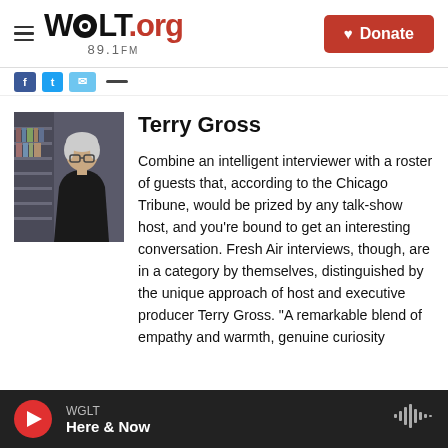WGLT.org 89.1FM — Donate
[Figure (screenshot): Social sharing buttons: Facebook, Twitter, Email, and a dash icon]
[Figure (photo): Terry Gross standing in a hallway or archive, wearing glasses and a black jacket]
Terry Gross
Combine an intelligent interviewer with a roster of guests that, according to the Chicago Tribune, would be prized by any talk-show host, and you're bound to get an interesting conversation. Fresh Air interviews, though, are in a category by themselves, distinguished by the unique approach of host and executive producer Terry Gross. "A remarkable blend of empathy and warmth, genuine curiosity
WGLT — Here & Now